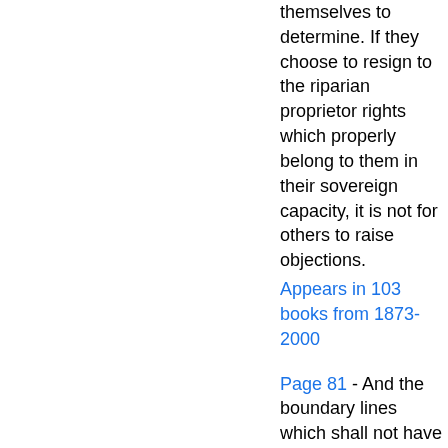themselves to determine. If they choose to resign to the riparian proprietor rights which properly belong to them in their sovereign capacity, it is not for others to raise objections.
Appears in 103 books from 1873-2000
Page 81 - And the boundary lines which shall not have been actually run and marked as aforesaid shall be ascertained by running straight lines from the established corners to the opposite corresponding corners...
Appears in 122 books from 1811-2003